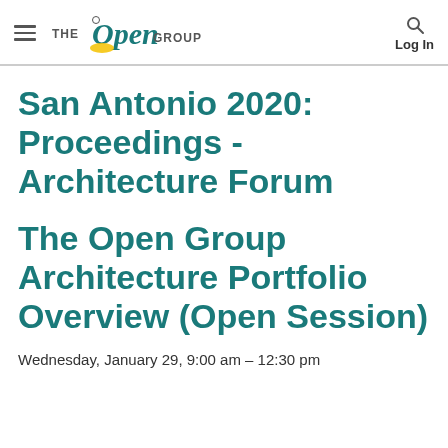THE Open GROUP — Log In
San Antonio 2020: Proceedings - Architecture Forum
The Open Group Architecture Portfolio Overview (Open Session)
Wednesday, January 29, 9:00 am – 12:30 pm